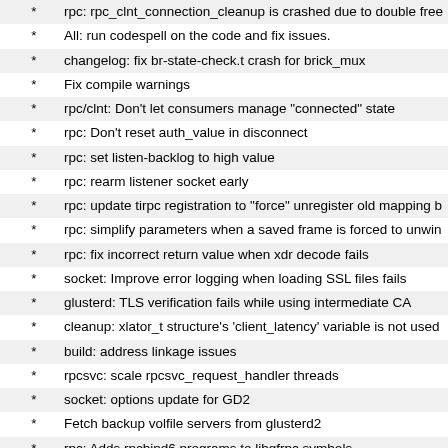rpc: rpc_clnt_connection_cleanup is crashed due to double free
All: run codespell on the code and fix issues.
changelog: fix br-state-check.t crash for brick_mux
Fix compile warnings
rpc/clnt: Don't let consumers manage "connected" state
rpc: Don't reset auth_value in disconnect
rpc: set listen-backlog to high value
rpc: rearm listener socket early
rpc: update tirpc registration to "force" unregister old mapping b
rpc: simplify parameters when a saved frame is forced to unwin
rpc: fix incorrect return value when xdr decode fails
socket: Improve error logging when loading SSL files fails
glusterd: TLS verification fails while using intermediate CA
cleanup: xlator_t structure's 'client_latency' variable is not used
build: address linkage issues
rpcsvc: scale rpcsvc_request_handler threads
socket: options update for GD2
Fetch backup volfile servers from glusterd2
rpc: Adds rpcbind6 programs to libgfrpc symbols
protocol: utilize the version 4 xdr
protocol: Implement put fop
build: Add new glusterfs4 source files to gitignore
build: restore ability to control verbosity settings
build: use libtirpc by default, even if ipv6 is not the default
protocol: make on-wire-change of protocol using new XDR defin
rpc/*: auth-header changes